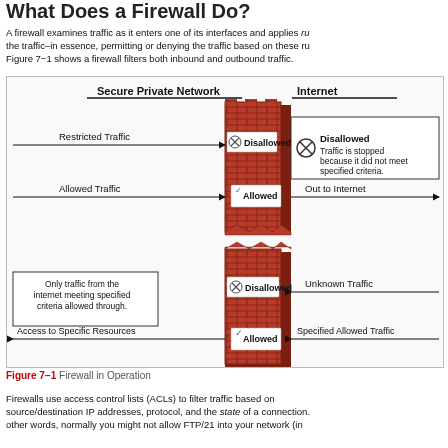What Does a Firewall Do?
A firewall examines traffic as it enters one of its interfaces and applies rules to the traffic–in essence, permitting or denying the traffic based on these rules. Figure 7–1 shows a firewall filters both inbound and outbound traffic.
[Figure (infographic): Diagram showing a firewall (brick wall) filtering both outbound traffic from a Secure Private Network to the Internet and inbound traffic from the Internet. Outbound: 'Restricted Traffic' is blocked (Disallowed - Traffic is stopped because it did not meet specified criteria), 'Allowed Traffic' passes through (Allowed - Out to Internet). Inbound: 'Unknown Traffic' is blocked (Disallowed - Only traffic from the internet meeting specified criteria allowed through), 'Specified Allowed Traffic' passes (Allowed - Access to Specific Resources).]
Figure 7–1 Firewall in Operation
Firewalls use access control lists (ACLs) to filter traffic based on source/destination IP addresses, protocol, and the state of a connection. other words, normally you might not allow FTP/21 into your network (in